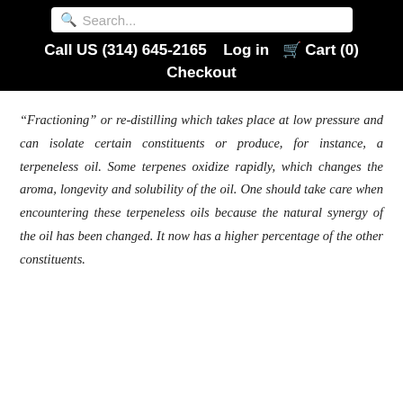Search... | Call US (314) 645-2165 | Log in | Cart (0) | Checkout
“Fractioning” or re-distilling which takes place at low pressure and can isolate certain constituents or produce, for instance, a terpeneless oil. Some terpenes oxidize rapidly, which changes the aroma, longevity and solubility of the oil. One should take care when encountering these terpeneless oils because the natural synergy of the oil has been changed. It now has a higher percentage of the other constituents.